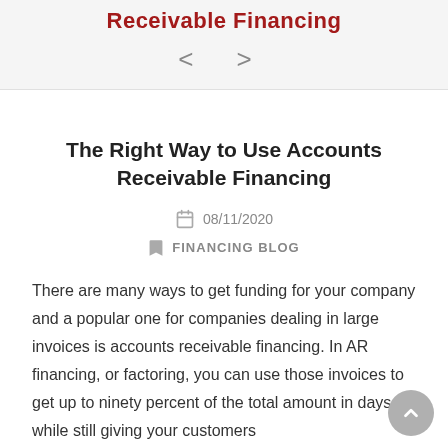Receivable Financing
[Figure (other): Navigation arrows left and right (< >) for sliding between pages]
The Right Way to Use Accounts Receivable Financing
08/11/2020
FINANCING BLOG
There are many ways to get funding for your company and a popular one for companies dealing in large invoices is accounts receivable financing. In AR financing, or factoring, you can use those invoices to get up to ninety percent of the total amount in days while still giving your customers